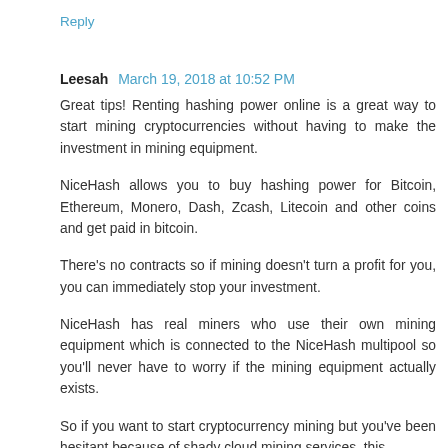Reply
Leesah  March 19, 2018 at 10:52 PM
Great tips! Renting hashing power online is a great way to start mining cryptocurrencies without having to make the investment in mining equipment.
NiceHash allows you to buy hashing power for Bitcoin, Ethereum, Monero, Dash, Zcash, Litecoin and other coins and get paid in bitcoin.
There's no contracts so if mining doesn't turn a profit for you, you can immediately stop your investment.
NiceHash has real miners who use their own mining equipment which is connected to the NiceHash multipool so you'll never have to worry if the mining equipment actually exists.
So if you want to start cryptocurrency mining but you've been hesitant because of shady cloud mining services, this